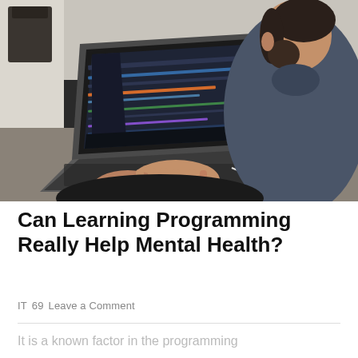[Figure (photo): A bearded man seen from behind/side, typing on a laptop computer showing a code editor with dark theme. A white mouse is visible to the right on the desk. Indoor setting.]
Can Learning Programming Really Help Mental Health?
IT  69  Leave a Comment
It is a known factor in the programming